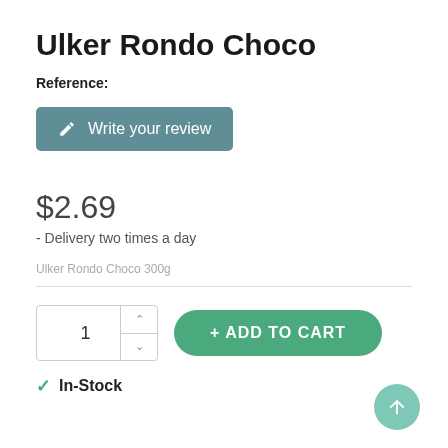Ulker Rondo Choco
Reference:
Write your review
$2.69
- Delivery two times a day
Ulker Rondo Choco 300g
1
+ ADD TO CART
In-Stock